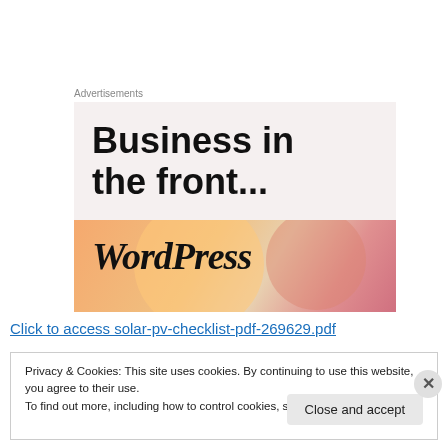Advertisements
[Figure (illustration): WordPress advertisement banner with large bold text 'Business in the front...' on light background and a colorful gradient banner with 'WordPress' in serif italic font]
Click to access solar-pv-checklist-pdf-269629.pdf
Privacy & Cookies: This site uses cookies. By continuing to use this website, you agree to their use.
To find out more, including how to control cookies, see here: Cookie Policy
Close and accept